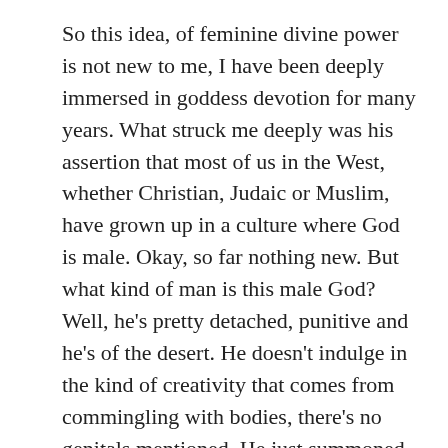So this idea, of feminine divine power is not new to me, I have been deeply immersed in goddess devotion for many years. What struck me deeply was his assertion that most of us in the West, whether Christian, Judaic or Muslim, have grown up in a culture where God is male. Okay, so far nothing new. But what kind of man is this male God? Well, he's pretty detached, punitive and he's of the desert. He doesn't indulge in the kind of creativity that comes from commingling with bodies, there's no genitals mentioned. He just summoned forth the world entirely on his own, from the force of his will and the power of his word. And on a deadline, one week to the day. And then he rests, somewhere far away from his creation.
Unlike all of the rest of creation (which is generally assumed to be in his image,) there's no genitals, no uterus, no feminine contribution at all. This is a creation